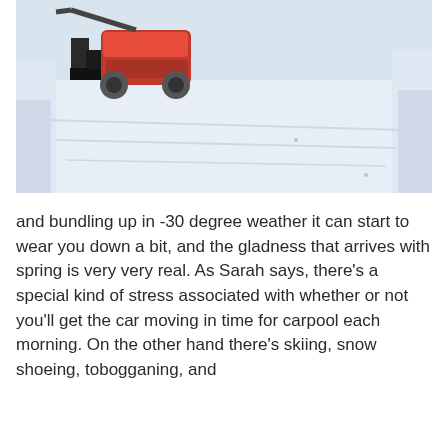[Figure (photo): A person using a red snow blower to clear a snow-covered driveway or walkway in winter. Snow banks are piled on either side. The scene is set in cold, snowy conditions.]
and bundling up in -30 degree weather it can start to wear you down a bit, and the gladness that arrives with spring is very very real. As Sarah says, there's a special kind of stress associated with whether or not you'll get the car moving in time for carpool each morning. On the other hand there's skiing, snow shoeing, tobogganing, and